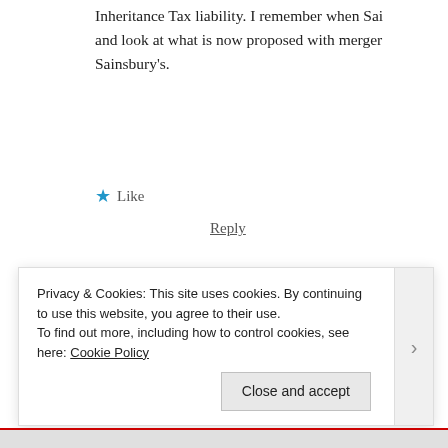Inheritance Tax liability. I remember when Sai and look at what is now proposed with merger Sainsbury's.
★ Like
Reply
Stephen Gamble says:
October 28, 2018 at 5:55 pm
Around 1970 the hostel at Ladbroke Grove ho west country.
Privacy & Cookies: This site uses cookies. By continuing to use this website, you agree to their use.
To find out more, including how to control cookies, see here: Cookie Policy
Close and accept